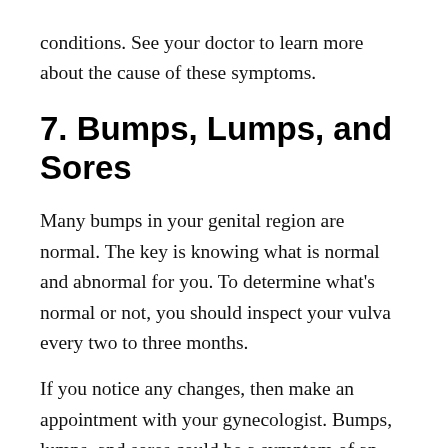conditions. See your doctor to learn more about the cause of these symptoms.
7. Bumps, Lumps, and Sores
Many bumps in your genital region are normal. The key is knowing what is normal and abnormal for you. To determine what’s normal or not, you should inspect your vulva every two to three months.
If you notice any changes, then make an appointment with your gynecologist. Bumps, lumps, and sores could be a symptom of an STI or,